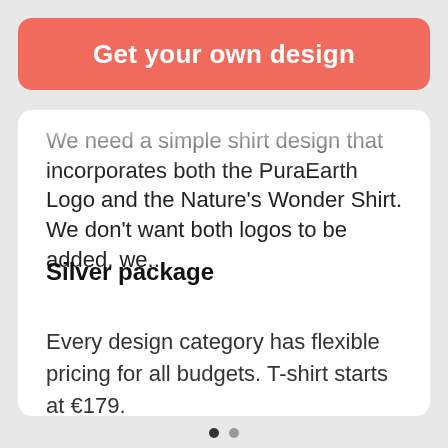Get your own design
We need a simple shirt design that incorporates both the PuraEarth Logo and the Nature's Wonder Shirt. We don't want both logos to be added, we...
Silver package
Every design category has flexible pricing for all budgets. T-shirt starts at €179.